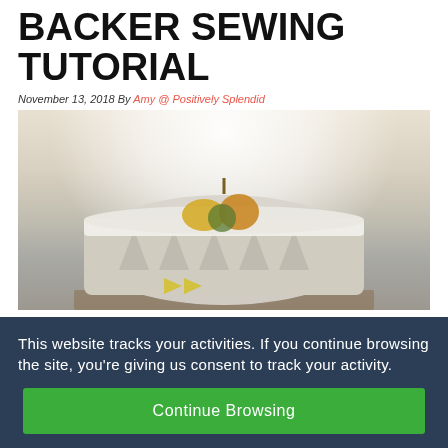BACKER SEWING TUTORIAL
November 13, 2018 By Amy @ Positively Splendid
[Figure (photo): Photo of a decorative fabric basket/bowl filled with small gourds and dried botanicals, placed on a wooden surface with a light background]
This website tracks your activities. If you continue browsing the site, you're giving us consent to track your activity.
Continue Browsing